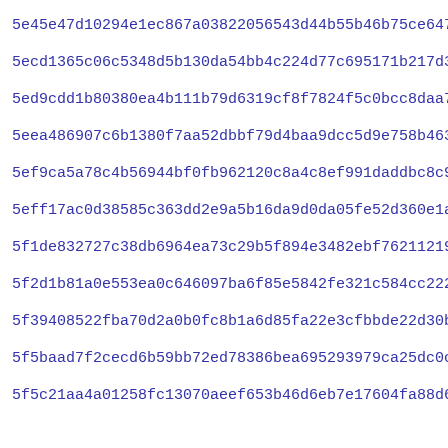5e45e47d10294e1ec867a03822056543d44b55b46b75ce647f88a3bf3c92f
5ecd1365c06c5348d5b130da54bb4c224d77c695171b217d36b966921c7f4
5ed9cdd1b80380ea4b111b79d6319cf8f7824f5c0bcc8daa73d1d7334c262
5eea486907c6b1380f7aa52dbbf79d4baa9dcc5d9e758b463e1809cc36b38
5ef9ca5a78c4b56944bf0fb962120c8a4c8ef991daddbc8c945590ddf1af7
5eff17ac0d38585c363dd2e9a5b16da9d0da05fe52d360e1ae78dd0a2b146
5f1de832727c38db6964ea73c29b5f894e3482ebf76211219cc0094246eb8
5f2d1b81a0e553ea0c646097ba6f85e5842fe321c584cc2224d3960778ae8
5f39408522fba70d2a0b0fc8b1a6d85fa22e3cfbbde22d30b7f19644c6f66
5f5baad7f2cecd6b59bb72ed78386bea695293979ca25dc0c4fa8f479cf3d
5f5c21aa4a01258fc13070aeef653b46d6eb7e17604fa88d61c0a0fbad2fb